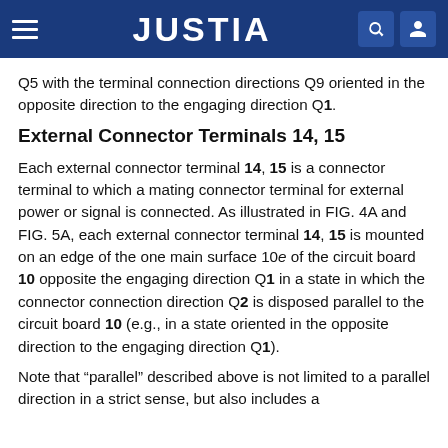JUSTIA
Q5 with the terminal connection directions Q9 oriented in the opposite direction to the engaging direction Q1.
External Connector Terminals 14, 15
Each external connector terminal 14, 15 is a connector terminal to which a mating connector terminal for external power or signal is connected. As illustrated in FIG. 4A and FIG. 5A, each external connector terminal 14, 15 is mounted on an edge of the one main surface 10e of the circuit board 10 opposite the engaging direction Q1 in a state in which the connector connection direction Q2 is disposed parallel to the circuit board 10 (e.g., in a state oriented in the opposite direction to the engaging direction Q1).
Note that “parallel” described above is not limited to a parallel direction in a strict sense, but also includes a